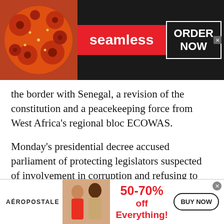[Figure (photo): Seamless food delivery advertisement banner with pizza image on left, red Seamless logo in center, and ORDER NOW button on right with dark background]
the border with Senegal, a revision of the constitution and a peacekeeping force from West Africa's regional bloc ECOWAS.
Monday's presidential decree accused parliament of protecting legislators suspected of involvement in corruption and refusing to comply with checks of its accounts.
The post Guinea Bissau president dissolves parliament in new political row appeared first on Al Jazeera.
[Figure (photo): Aeropostale advertisement banner with two female models, 50-70% off Everything! promotion text in red, and BUY NOW button]